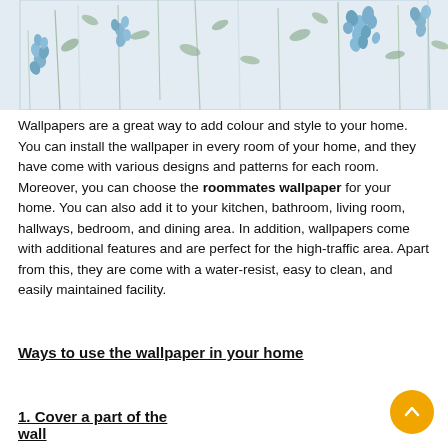[Figure (photo): Floral wallpaper image with blue flowers and green leaves on a light background]
Wallpapers are a great way to add colour and style to your home. You can install the wallpaper in every room of your home, and they have come with various designs and patterns for each room. Moreover, you can choose the roommates wallpaper for your home. You can also add it to your kitchen, bathroom, living room, hallways, bedroom, and dining area. In addition, wallpapers come with additional features and are perfect for the high-traffic area. Apart from this, they are come with a water-resist, easy to clean, and easily maintained facility.
Ways to use the wallpaper in your home
1. Cover a part of the wall